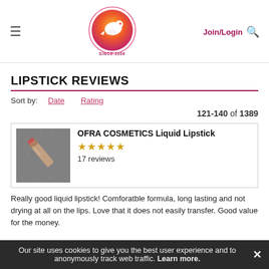ChickAdvisor — Join/Login [search]
LIPSTICK REVIEWS
Sort by: Date Rating
121-140 of 1389
[Figure (photo): Product image of OFRA COSMETICS Liquid Lipstick — a lipstick on a grey/glitter surface]
OFRA COSMETICS Liquid Lipstick — ★★★★★ — 17 reviews
Really good liquid lipstick! Comforatble formula, long lasting and not drying at all on the lips. Love that it does not easily transfer. Good value for the money.
Our site uses cookies to give you the best user experience and to anonymously track web traffic. Learn more.